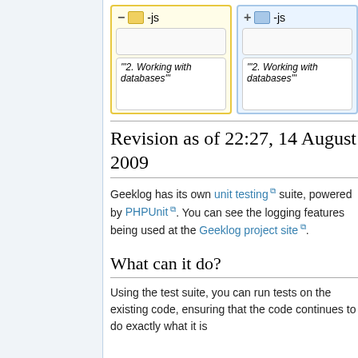[Figure (other): Wikipedia-style diff view showing two columns: left column with yellow header '− [box] -js' and right column with blue header '+ [box] -js', each with an empty box and a text box containing "'"2. Working with databases"'"]
Revision as of 22:27, 14 August 2009
Geeklog has its own unit testing suite, powered by PHPUnit. You can see the logging features being used at the Geeklog project site.
What can it do?
Using the test suite, you can run tests on the existing code, ensuring that the code continues to do exactly what it is